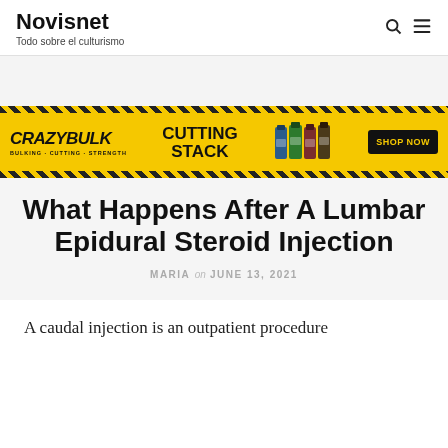Novisnet — Todo sobre el culturismo
[Figure (infographic): CrazyBulk Cutting Stack advertisement banner with yellow hazard-stripe border, brand name in bold italic, supplement bottles, and SHOP NOW button]
What Happens After A Lumbar Epidural Steroid Injection
MARIA on JUNE 13, 2021
A caudal injection is an outpatient procedure